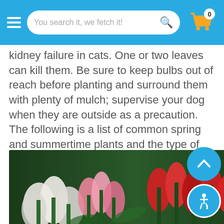You search it, we fetch it! [search bar] [cart: 0]
kidney failure in cats. One or two leaves can kill them. Be sure to keep bulbs out of reach before planting and surround them with plenty of mulch; supervise your dog when they are outside as a precaution. The following is a list of common spring and summertime plants and the type of dangers they pose.
[Figure (photo): Photo of colorful tulips — white, pink, red, yellow, and purple — in bloom, close-up view]